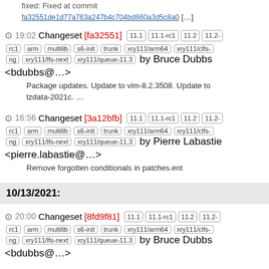fixed: Fixed at commit fa32551de1d77a763a247b4c704bd860a3d5c8a0 [...]
19:02 Changeset [fa32551] 11.1 11.1-rc1 11.2 11.2-rc1 arm multilib s6-init trunk xry111/arm64 xry111/clfs-ng xry111/lfs-next xry111/queue-11.3 by Bruce Dubbs <bdubbs@...>
Package updates. Update to vim-8.2.3508. Update to tzdata-2021c. ...
16:56 Changeset [3a12bfb] 11.1 11.1-rc1 11.2 11.2-rc1 arm multilib s6-init trunk xry111/arm64 xry111/clfs-ng xry111/lfs-next xry111/queue-11.3 by Pierre Labastie <pierre.labastie@...>
Remove forgotten conditionals in patches.ent
10/13/2021:
20:00 Changeset [8fd9f81] 11.1 11.1-rc1 11.2 11.2-rc1 arm multilib s6-init trunk xry111/arm64 xry111/clfs-ng xry111/lfs-next xry111/queue-11.3 by Bruce Dubbs <bdubbs@...>